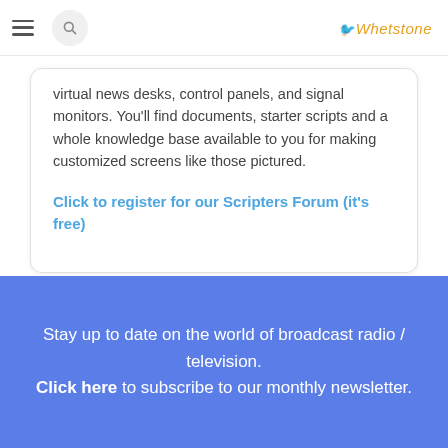Whetstone
virtual news desks, control panels, and signal monitors. You'll find documents, starter scripts and a whole knowledge base available to you for making customized screens like those pictured.
Click to register for our Scripters Forum (it's free)
Stay up to date on the world of broadcast radio / television. Click here to subscribe to our monthly newsletter.